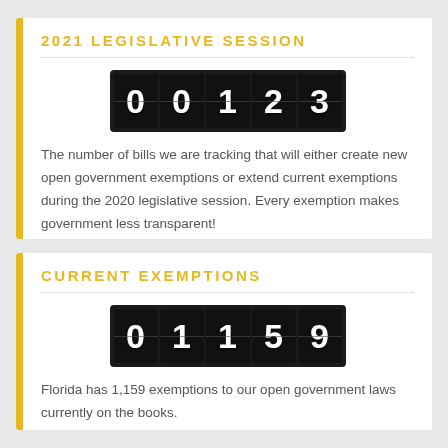2021 LEGISLATIVE SESSION
[Figure (infographic): Mechanical counter display showing the number 00123 in white digits on black digit tiles]
The number of bills we are tracking that will either create new open government exemptions or extend current exemptions during the 2020 legislative session. Every exemption makes government less transparent!
CURRENT EXEMPTIONS
[Figure (infographic): Mechanical counter display showing the number 01159 in white digits on black digit tiles]
Florida has 1,159 exemptions to our open government laws currently on the books.